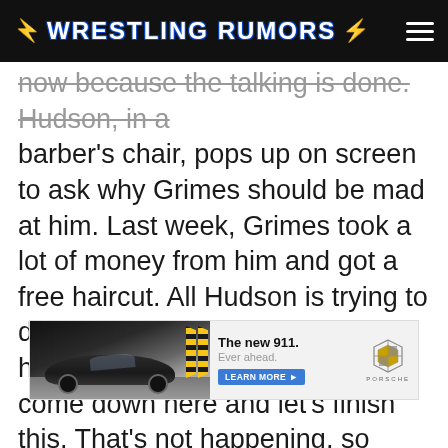WRESTLING RUMORS
now because the talking is done. Hudson, in a barber’s chair, pops up on screen to ask why Grimes should be mad at him. Last week, Grimes took a lot of money from him and got a free haircut. All Hudson is trying to do is make Grimes a decent human being, so Grimes says come down here and let’s finish this. That’s not happening, so Grimes makes a better offer: let’s go all in, with hair vs. hair at WarGames. Hudson is in, and holds up Grimes’ hair in a bag.
[Figure (photo): Advertisement banner for Porsche 911. Shows a Porsche 911 car driving on a road with chevron barriers, alongside text: The new 911. Ever ahead. LEARN MORE button. Porsche logo on the right.]